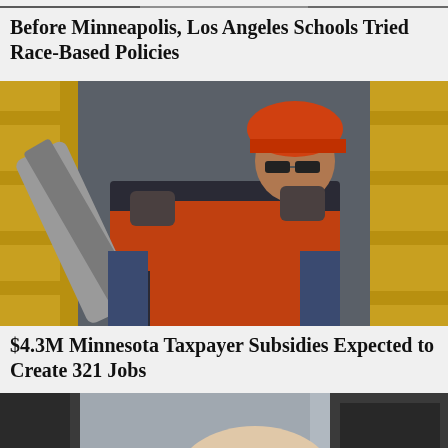[Figure (photo): Partial photo cropped at top of page - top of another article's image]
Before Minneapolis, Los Angeles Schools Tried Race-Based Policies
[Figure (photo): Construction worker wearing an orange hard hat and orange safety vest, holding a large piece of metal/pipe equipment on a construction site with yellow scaffolding in the background]
$4.3M Minnesota Taxpayer Subsidies Expected to Create 321 Jobs
[Figure (photo): Partial photo at bottom of page showing the top of a man's head with white/grey hair, beginning of a third article]